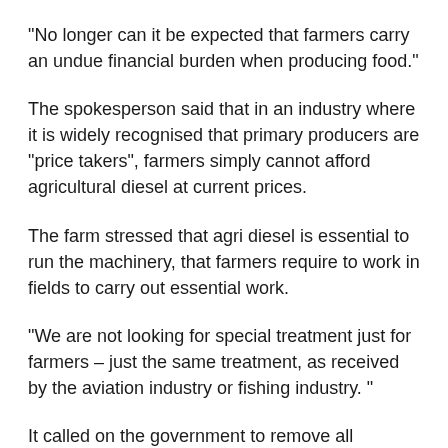“No longer can it be expected that farmers carry an undue financial burden when producing food.”
The spokesperson said that in an industry where it is widely recognised that primary producers are “price takers”, farmers simply cannot afford agricultural diesel at current prices.
The farm stressed that agri diesel is essential to run the machinery, that farmers require to work in fields to carry out essential work.
“We are not looking for special treatment just for farmers – just the same treatment, as received by the aviation industry or fishing industry. ”
It called on the government to remove all additional charges on a litre of diesel. It said that this is the model for the